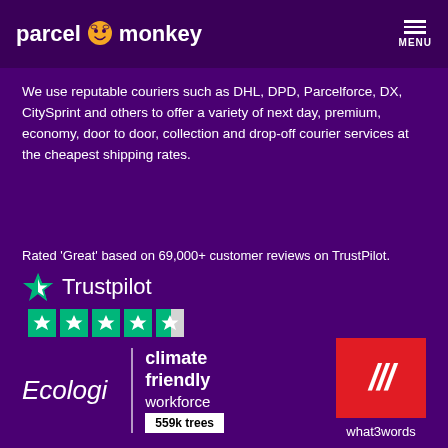parcelmonkey MENU
We use reputable couriers such as DHL, DPD, Parcelforce, DX, CitySprint and others to offer a variety of next day, premium, economy, door to door, collection and drop-off courier services at the cheapest shipping rates.
Rated 'Great' based on 69,000+ customer reviews on TrustPilot.
[Figure (logo): Trustpilot logo with green star and 4.5 star rating]
[Figure (logo): Ecologi climate friendly workforce badge showing 559k trees planted]
[Figure (logo): what3words logo — red square with three white diagonal slashes]